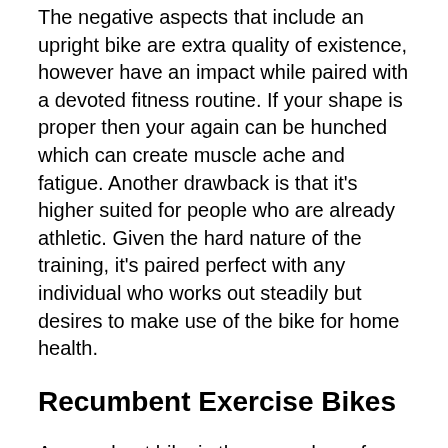The negative aspects that include an upright bike are extra quality of existence, however have an impact while paired with a devoted fitness routine. If your shape is proper then your again can be hunched which can create muscle ache and fatigue. Another drawback is that it's higher suited for people who are already athletic. Given the hard nature of the training, it's paired perfect with any individual who works out steadily but desires to make use of the bike for home health.
Recumbent Exercise Bikes
A recumbent bike is the second one form of fitness bike. With a simple change in seating, some of the hazards of the upright bike are alleviated, even as buying and selling out a more extreme workout. In a recumbent bike the rider's physique sits simply into the chair with a backrest to assist the and lower...